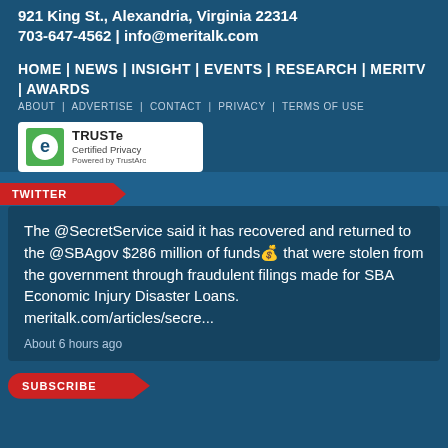921 King St., Alexandria, Virginia 22314
703-647-4562 | info@meritalk.com
HOME | NEWS | INSIGHT | EVENTS | RESEARCH | MERITV | AWARDS
ABOUT | ADVERTISE | CONTACT | PRIVACY | TERMS OF USE
[Figure (logo): TRUSTe Certified Privacy badge, Powered by TrustArc]
TWITTER
The @SecretService said it has recovered and returned to the @SBAgov $286 million of funds💰 that were stolen from the government through fraudulent filings made for SBA Economic Injury Disaster Loans. meritalk.com/articles/secre...
About 6 hours ago
SUBSCRIBE